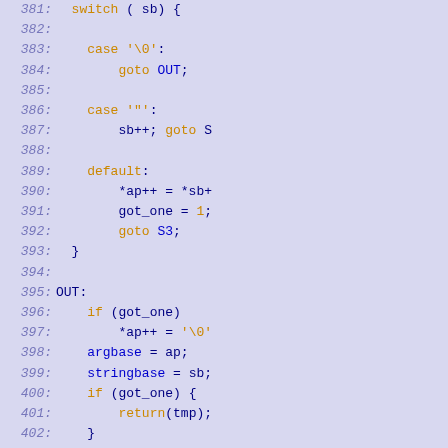[Figure (screenshot): Source code listing showing lines 381-411 of a C program with syntax highlighting on a light blue/lavender background. Line numbers in italic blue-purple on the left, code in dark blue with orange keywords and string literals.]